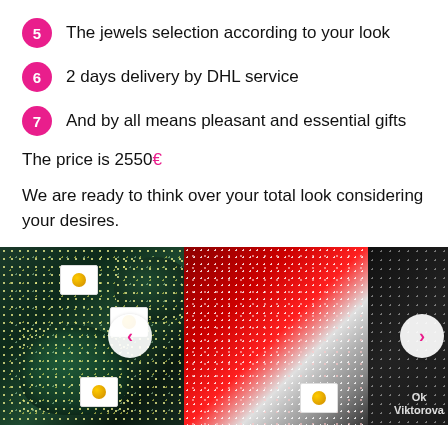5 The jewels selection according to your look
6 2 days delivery by DHL service
7 And by all means pleasant and essential gifts
The price is 2550€
We are ready to think over your total look considering your desires.
[Figure (photo): Carousel of rhinestone-decorated gymnastics costumes: green/teal bejeweled costume on the left, red-to-white gradient rhinestone costume in the center, dark costume on the far right, with navigation arrows and business watermark.]